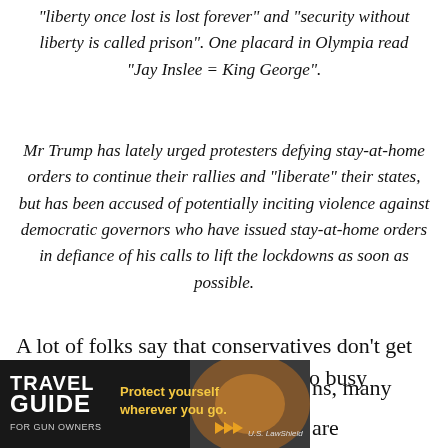“liberty once lost is lost forever” and “security without liberty is called prison”. One placard in Olympia read “Jay Inslee = King George”.
Mr Trump has lately urged protesters defying stay-at-home orders to continue their rallies and “liberate” their states, but has been accused of potentially inciting violence against democratic governors who have issued stay-at-home orders in defiance of his calls to lift the lockdowns as soon as possible.
A lot of folks say that conservatives don’t get out and protest because they’re too busy working
[Figure (photo): Advertisement banner for Travel Guide for Gun Owners featuring text 'Protect yourself wherever you go.' with US LawShield logo and gold play button graphics on a dark background]
ns, many are